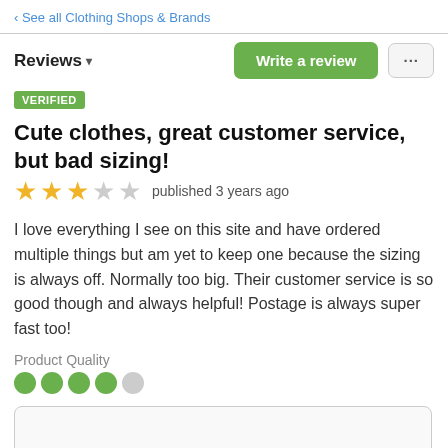‹ See all Clothing Shops & Brands
Reviews ▾
Write a review
VERIFIED
Cute clothes, great customer service, but bad sizing!
★★★☆☆ published 3 years ago
I love everything I see on this site and have ordered multiple things but am yet to keep one because the sizing is always off. Normally too big. Their customer service is so good though and always helpful! Postage is always super fast too!
Product Quality
[Figure (infographic): Four filled green circles and one empty grey circle representing product quality rating of 4 out of 5]